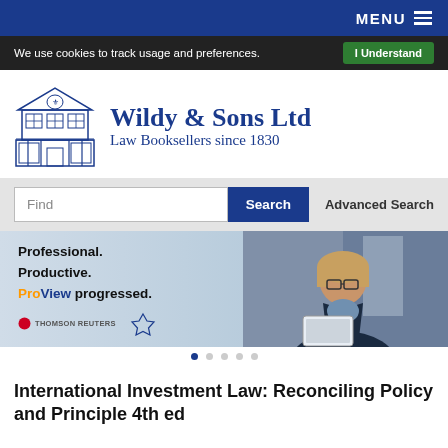MENU
We use cookies to track usage and preferences.  I Understand
[Figure (logo): Wildy & Sons Ltd building logo with blue line art of a bookshop facade]
Wildy & Sons Ltd
Law Booksellers since 1830
Find  Search  Advanced Search
[Figure (illustration): Thomson Reuters ProView advertisement banner. Text reads: Professional. Productive. ProView progressed. Shows Thomson Reuters logo and photo of a woman with glasses reading a tablet.]
International Investment Law: Reconciling Policy and Principle 4th ed